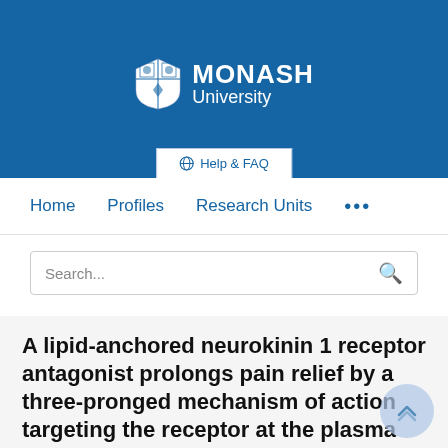[Figure (logo): Monash University logo with shield crest and text 'MONASH University' in white on blue background]
Help & FAQ
Home   Profiles   Research Units   ...
Search...
A lipid-anchored neurokinin 1 receptor antagonist prolongs pain relief by a three-pronged mechanism of action targeting the receptor at the plasma membrane and beyond